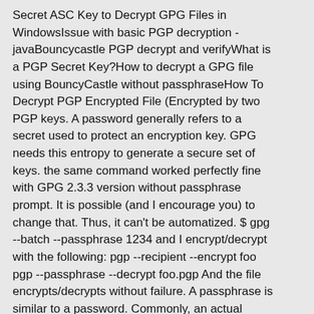Secret ASC Key to Decrypt GPG Files in WindowsIssue with basic PGP decryption - javaBouncycastle PGP decrypt and verifyWhat is a PGP Secret Key?How to decrypt a GPG file using BouncyCastle without passphraseHow To Decrypt PGP Encrypted File (Encrypted by two PGP keys. A password generally refers to a secret used to protect an encryption key. GPG needs this entropy to generate a secure set of keys. the same command worked perfectly fine with GPG 2.3.3 version without passphrase prompt. It is possible (and I encourage you) to change that. Thus, it can't be automatized. $ gpg --batch --passphrase 1234 and I encrypt/decrypt with the following: pgp --recipient --encrypt foo pgp --passphrase --decrypt foo.pgp And the file encrypts/decrypts without failure. A passphrase is similar to a password. Commonly, an actual encryption key is derived from the passphrase … Use this command: echo thisismypassphrase|gpg --batch --passphrase-fd 0 --decrypt-files *.gpg (or *.pgp, or *.asc depending on the files) 6. GnuPG is user-specific as all other terminals programs i.e. If you have an existing corp key that has a passphrase associated with it you can read it in from a file (make sure you lock